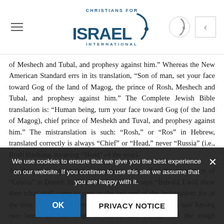Christians for Israel International
of Meshech and Tubal, and prophesy against him.” Whereas the New American Standard errs in its translation, “Son of man, set your face toward Gog of the land of Magog, the prince of Rosh, Meshech and Tubal, and prophesy against him.” The Complete Jewish Bible translation is: “Human being, turn your face toward Gog (of the land of Magog), chief prince of Meshekh and Tuval, and prophesy against him.” The mistranslation is such: “Rosh,” or “Ros” in Hebrew, translated correctly is always “Chief” or “Head,” never “Russia” (i.e., Rosh Hashana, meaning “Head” of the year).
Another misinterpretation of prophecy is found in the translation of “Grecia” in Daniel. In Daniel 8:15 (Geneva) says “Behold, I will shew thee what shall come to pass in the last end of the indignation: for at the time appointed the end shall be. The ram which you saw having two horns are the kings of Media and Persia. And the rough goat... Strong’s Concordance incorrectly states the word “Grecia” in Hebrew as “Iavan, a name for the Greeks. Historically...
We use cookies to ensure that we give you the best experience on our website. If you continue to use this site we assume that you are happy with it.